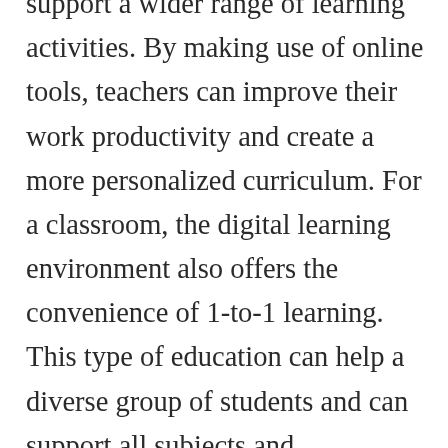support a wider range of learning activities. By making use of online tools, teachers can improve their work productivity and create a more personalized curriculum. For a classroom, the digital learning environment also offers the convenience of 1-to-1 learning. This type of education can help a diverse group of students and can support all subjects and curriculum. It also helps the students to become more self-sufficient in a digital environment.
A successful digital learning environment will encourage collaborative learning and a strong culture among learners. An online